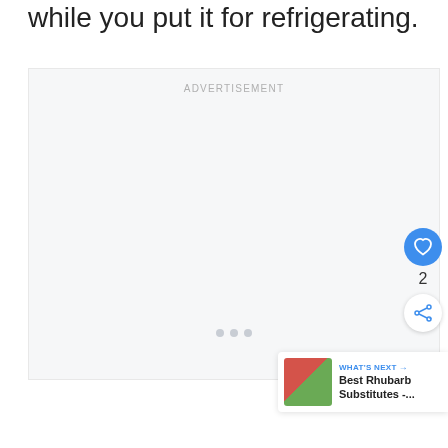while you put it for refrigerating.
[Figure (other): Advertisement placeholder box with label ADVERTISEMENT and three navigation dots at bottom]
2
[Figure (other): WHAT'S NEXT → Best Rhubarb Substitutes -... widget with thumbnail image]